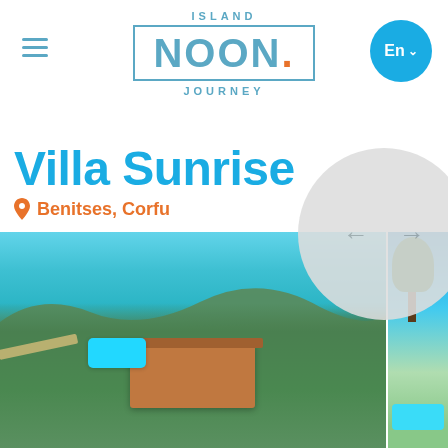ISLAND NOON. JOURNEY
Villa Sunrise
Benitses, Corfu
[Figure (photo): Aerial drone view of Villa Sunrise in Benitses, Corfu, showing a large building with terracotta roof and a swimming pool surrounded by lush green vegetation, with turquoise sea coastline visible above]
[Figure (photo): Partial side view showing trees and a pool with blue water]